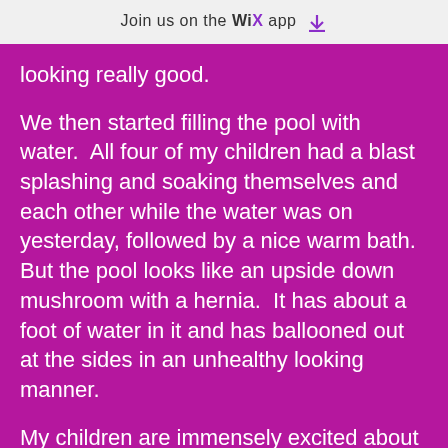Join us on the WiX app ↓
looking really good.

We then started filling the pool with water.  All four of my children had a blast splashing and soaking themselves and each other while the water was on yesterday, followed by a nice warm bath.  But the pool looks like an upside down mushroom with a hernia.  It has about a foot of water in it and has ballooned out at the sides in an unhealthy looking manner.

My children are immensely excited about swimming in the pool this afternoon so I obviously need help to